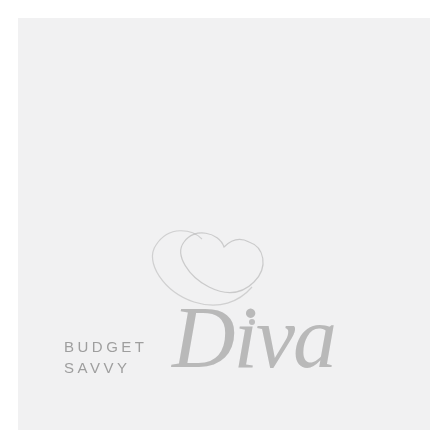[Figure (logo): Budget Savvy Diva logo: 'BUDGET SAVVY' in spaced gray sans-serif caps alongside a large decorative cursive script word 'Diva' in light gray, with a large decorative swash/flourish extending above and behind the script.]